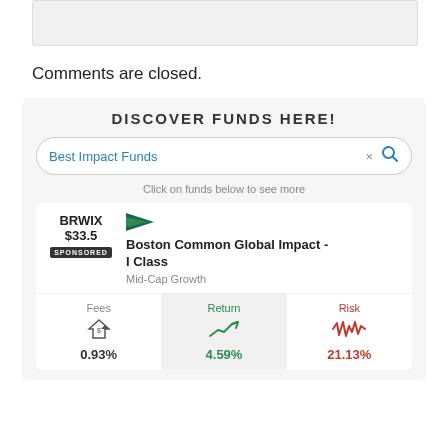Comments are closed.
DISCOVER FUNDS HERE!
Best Impact Funds
Click on funds below to see more
| Ticker/Price | Fund Name | Category |
| --- | --- | --- |
| BRWIX $33.5 SPONSORED | Boston Common Global Impact - I Class | Mid-Cap Growth |
| Fees | Return | Risk |
| --- | --- | --- |
| 0.93% | 4.59% | 21.13% |